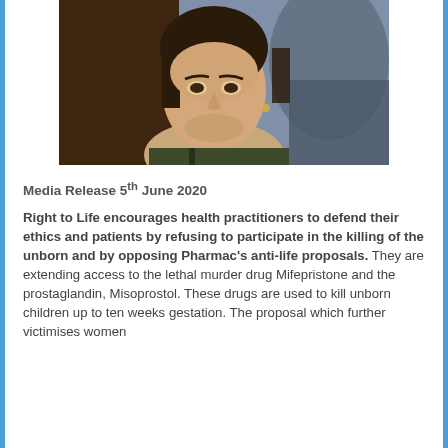[Figure (photo): Close-up portrait photograph of a woman with a serious expression, brown background with blurred figure behind]
Media Release 5th June 2020
Right to Life encourages health practitioners to defend their ethics and patients by refusing to participate in the killing of the unborn and by opposing Pharmac's anti-life proposals. They are extending access to the lethal murder drug Mifepristone and the prostaglandin, Misoprostol. These drugs are used to kill unborn children up to ten weeks gestation. The proposal which further victimises women